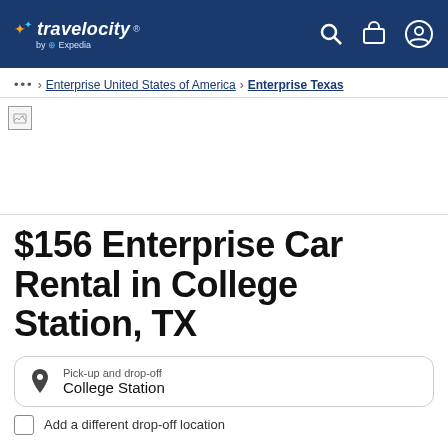Travelocity by Expedia
... > Enterprise United States of America > Enterprise Texas
[Figure (photo): Hero image placeholder (broken image icon)]
$156 Enterprise Car Rental in College Station, TX
Pick-up and drop-off
College Station
Add a different drop-off location